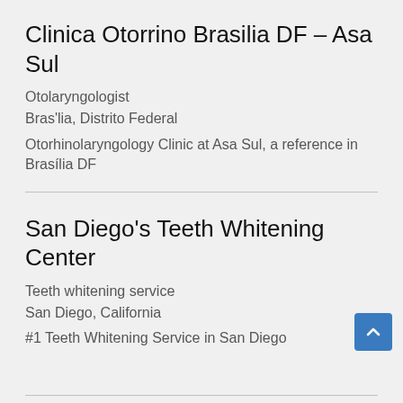Clinica Otorrino Brasilia DF – Asa Sul
Otolaryngologist
Bras'lia, Distrito Federal
Otorhinolaryngology Clinic at Asa Sul, a reference in Brasília DF
San Diego's Teeth Whitening Center
Teeth whitening service
San Diego, California
#1 Teeth Whitening Service in San Diego